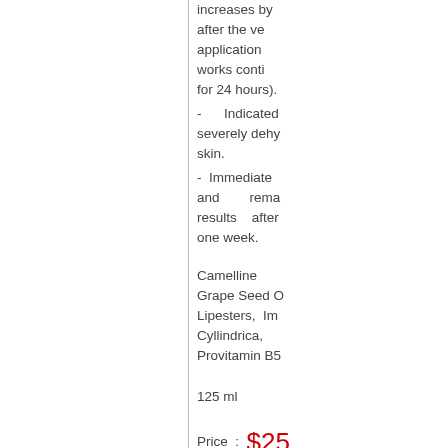increases by after the ve application works conti for 24 hours).
- Indicated severely dehy skin.
- Immediate and rema results after one week.
Camelline Grape Seed O Lipesters, Im Cyllindrica, Provitamin B5
125 ml
Price : $25 (CAN)